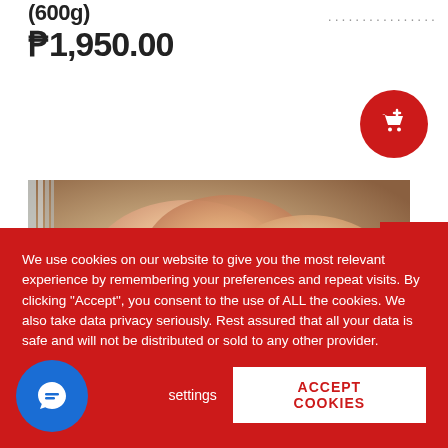(600g)
₱1,950.00
[Figure (photo): Close-up photo of raw fish fillets/slices, showing pink-orange flesh with shimmering surface, placed on banana leaf background]
We use cookies on our website to give you the most relevant experience by remembering your preferences and repeat visits. By clicking "Accept", you consent to the use of ALL the cookies. We also take data privacy seriously. Rest assured that all your data is safe and will not be distributed or sold to any other provider.
settings
ACCEPT COOKIES